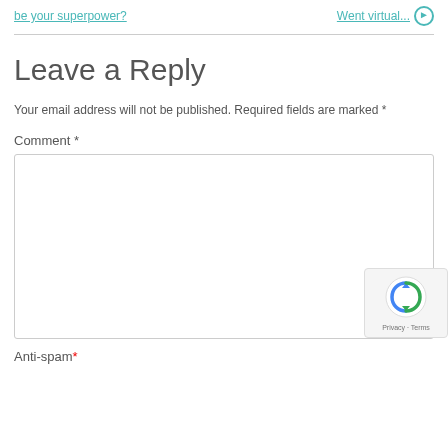be your superpower?    Went virtual...
Leave a Reply
Your email address will not be published. Required fields are marked *
Comment *
Anti-spam*